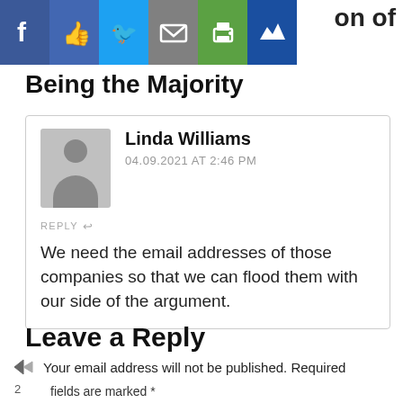[Figure (other): Social sharing bar with icons: Facebook, Like, Twitter, Email, Print, Crown/Premium]
Being the Majority
Linda Williams
04.09.2021 AT 2:46 PM
We need the email addresses of those companies so that we can flood them with our side of the argument.
Leave a Reply
Your email address will not be published. Required